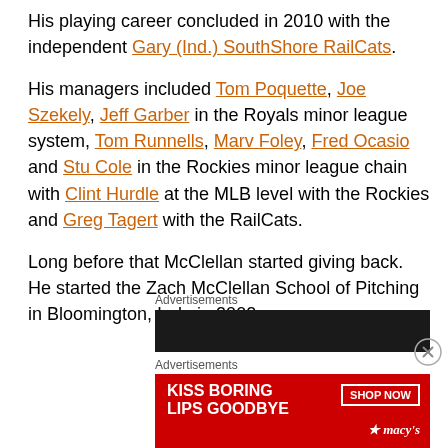His playing career concluded in 2010 with the independent Gary (Ind.) SouthShore RailCats.
His managers included Tom Poquette, Joe Szekely, Jeff Garber in the Royals minor league system, Tom Runnells, Marv Foley, Fred Ocasio and Stu Cole in the Rockies minor league chain with Clint Hurdle at the MLB level with the Rockies and Greg Tagert with the RailCats.
Long before that McClellan started giving back. He started the Zach McClellan School of Pitching in Bloomington, Ind., in 2002.
[Figure (other): Advertisement banner area - dark/black banner ad]
[Figure (other): Advertisement banner - Macy's 'Kiss Boring Lips Goodbye' ad with Shop Now button]